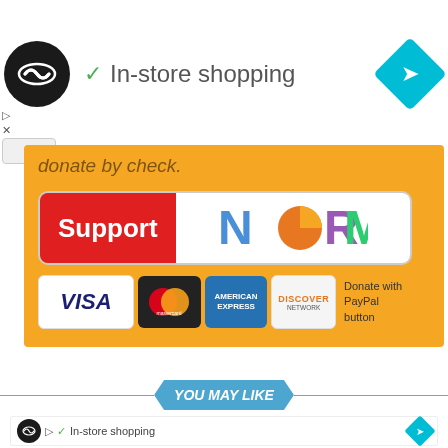[Figure (screenshot): Top ad bar with circular logo, In-store shopping text with checkmark, and cyan navigation diamond]
donate by check.
[Figure (screenshot): Support NCRM donation button with payment logos: Visa, Mastercard, American Express, Discover, and PayPal]
YOU MAY LIKE
[Figure (screenshot): Bottom ad bar repeating In-store shopping ad]